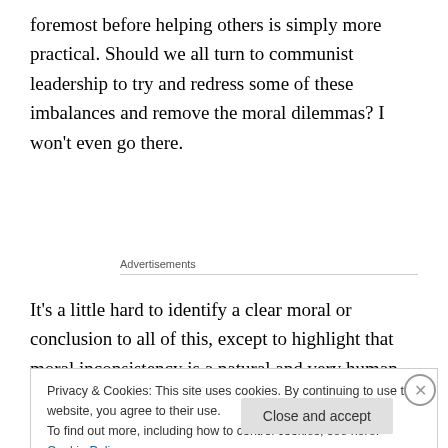foremost before helping others is simply more practical. Should we all turn to communist leadership to try and redress some of these imbalances and remove the moral dilemmas? I won't even go there.
Advertisements
It's a little hard to identify a clear moral or conclusion to all of this, except to highlight that moral inconsistency is a natural and very human trait. Some might deplore this
Privacy & Cookies: This site uses cookies. By continuing to use this website, you agree to their use.
To find out more, including how to control cookies, see here: Cookie Policy